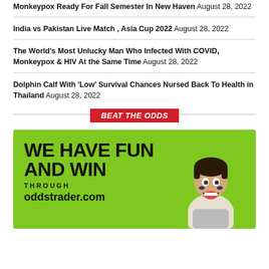Monkeypox Ready For Fall Semester In New Haven August 28, 2022
India vs Pakistan Live Match , Asia Cup 2022 August 28, 2022
The World's Most Unlucky Man Who Infected With COVID, Monkeypox & HIV At the Same Time August 28, 2022
Dolphin Calf With 'Low' Survival Chances Nursed Back To Health in Thailand August 28, 2022
BEAT THE ODDS
[Figure (infographic): Green advertisement banner for oddstrader.com reading WE HAVE FUN AND WIN THROUGH oddstrader.com with a person celebrating]